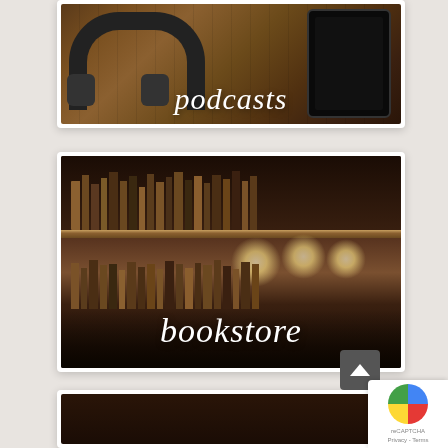[Figure (photo): Promotional banner image for 'podcasts' — headphones and a tablet on a wooden table, with handwritten-style text 'podcasts' overlaid in white]
[Figure (photo): Promotional banner image for 'bookstore' — a dimly lit wooden bookshelf filled with antique books, glowing lights in background, with handwritten-style text 'bookstore' overlaid in white]
[Figure (photo): Partially visible third promotional banner image, dark brown tones, cropped at bottom of page]